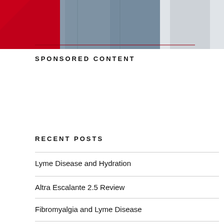[Figure (photo): Partial photo showing people wearing jeans and a red shirt, with a red graphic element on the left side. Top portion of image is cropped.]
SPONSORED CONTENT
RECENT POSTS
Lyme Disease and Hydration
Altra Escalante 2.5 Review
Fibromyalgia and Lyme Disease